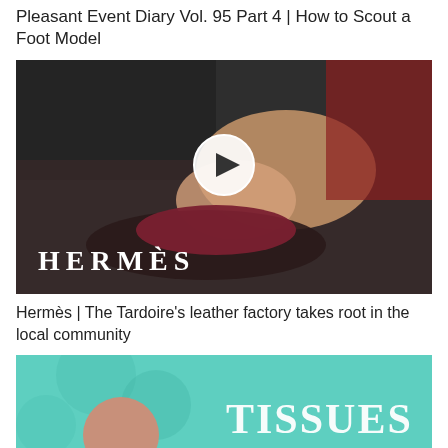Pleasant Event Diary Vol. 95 Part 4 | How to Scout a Foot Model
[Figure (screenshot): Video thumbnail showing a person hammering leather at a workbench, with a play button overlay and HERMÈS logo text at the bottom left]
Hermès | The Tardoire's leather factory takes root in the local community
[Figure (screenshot): Bottom thumbnail showing a teal/green illustrated graphic with large text reading TISSUES and a stylized figure]